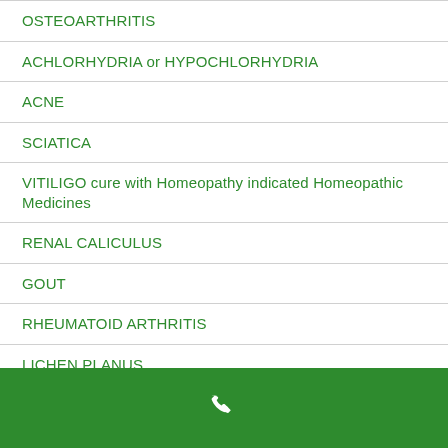OSTEOARTHRITIS
ACHLORHYDRIA or HYPOCHLORHYDRIA
ACNE
SCIATICA
VITILIGO cure with Homeopathy indicated Homeopathic Medicines
RENAL CALICULUS
GOUT
RHEUMATOID ARTHRITIS
LICHEN PLANUS
PSORIASIS
[Figure (other): Green footer bar with white phone icon]